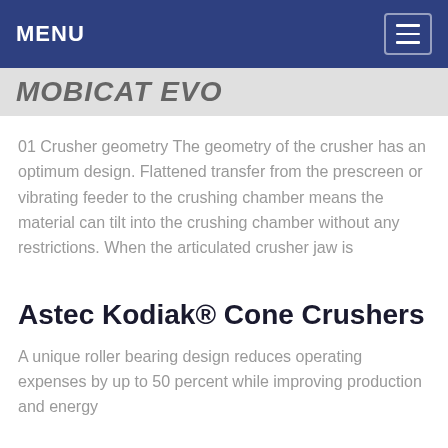MENU
MOBICAT EVO
01 Crusher geometry The geometry of the crusher has an optimum design. Flattened transfer from the prescreen or vibrating feeder to the crushing chamber means the material can tilt into the crushing chamber without any restrictions. When the articulated crusher jaw is
Astec Kodiak® Cone Crushers
A unique roller bearing design reduces operating expenses by up to 50 percent while improving production and energy